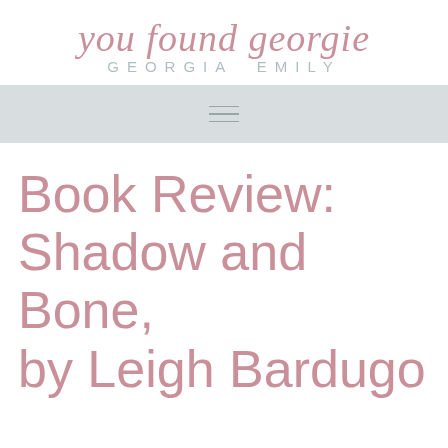you found georgie
GEORGIA EMILY
[Figure (other): Hamburger menu icon (three horizontal lines) on a light gray navigation bar]
Book Review: Shadow and Bone, by Leigh Bardugo